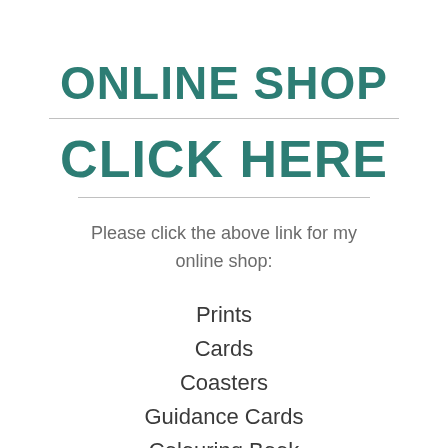ONLINE SHOP
CLICK HERE
Please click the above link for my online shop:
Prints
Cards
Coasters
Guidance Cards
Colouring Book